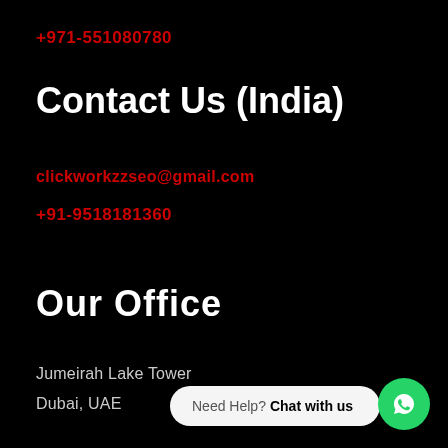+971-551080780
Contact Us (India)
clickworkzzseo@gmail.com
+91-9518181360
Our Office
Jumeirah Lake Tower
Dubai, UAE
Need Help? Chat with us